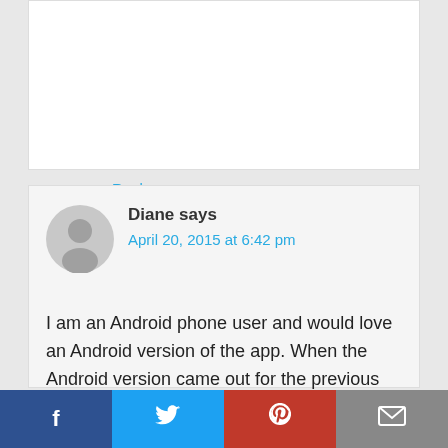Reply
Diane says
April 20, 2015 at 6:42 pm
I am an Android phone user and would love an Android version of the app. When the Android version came out for the previous apps, did we get a discount at the beginning? I have bought Caveman Feast, but had to pay full price since I learned about Abel only recently. Please don't give up on Android. I was an iPhone user for years and
[Figure (infographic): Social sharing bar with Facebook, Twitter, Pinterest, and email icons]